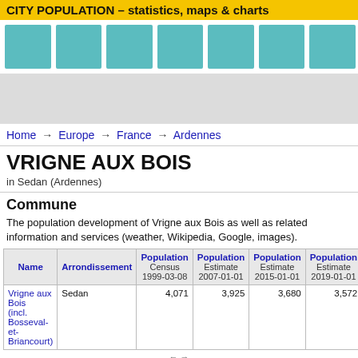CITY POPULATION – statistics, maps & charts
[Figure (other): Teal colored column bars navigation area]
[Figure (other): Gray advertisement/banner area]
Home → Europe → France → Ardennes
VRIGNE AUX BOIS
in Sedan (Ardennes)
Commune
The population development of Vrigne aux Bois as well as related information and services (weather, Wikipedia, Google, images).
| Name | Arrondissement | Population Census 1999-03-08 | Population Estimate 2007-01-01 | Population Estimate 2015-01-01 | Population Estimate 2019-01-01 |
| --- | --- | --- | --- | --- | --- |
| Vrigne aux Bois (incl. Bosseval-et-Briancourt) | Sedan | 4,071 | 3,925 | 3,680 | 3,572 |